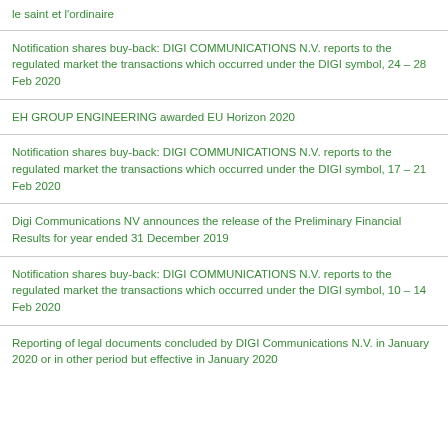le saint et l'ordinaire
Notification shares buy-back: DIGI COMMUNICATIONS N.V. reports to the regulated market the transactions which occurred under the DIGI symbol, 24 – 28 Feb 2020
EH GROUP ENGINEERING awarded EU Horizon 2020
Notification shares buy-back: DIGI COMMUNICATIONS N.V. reports to the regulated market the transactions which occurred under the DIGI symbol, 17 – 21 Feb 2020
Digi Communications NV announces the release of the Preliminary Financial Results for year ended 31 December 2019
Notification shares buy-back: DIGI COMMUNICATIONS N.V. reports to the regulated market the transactions which occurred under the DIGI symbol, 10 – 14 Feb 2020
Reporting of legal documents concluded by DIGI Communications N.V. in January 2020 or in other period but effective in January 2020